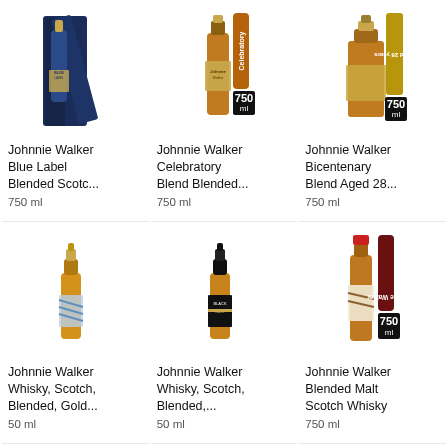[Figure (photo): Johnnie Walker Blue Label bottle in navy blue box]
Johnnie Walker Blue Label Blended Scotc...
750 ml
[Figure (photo): Johnnie Walker Celebratory Blend bottle with brown banner and 750ml badge]
Johnnie Walker Celebratory Blend Blended...
750 ml
[Figure (photo): Johnnie Walker Bicentenary Blend Aged 28 bottle with gold banner and 750ml badge]
Johnnie Walker Bicentenary Blend Aged 28...
750 ml
[Figure (photo): Johnnie Walker Gold Label mini bottle 50ml]
Johnnie Walker Whisky, Scotch, Blended, Gold...
50 ml
[Figure (photo): Johnnie Walker Black Label mini bottle 50ml]
Johnnie Walker Whisky, Scotch, Blended,...
50 ml
[Figure (photo): Jane Walker Johnnie Walker Blended Malt Scotch Whisky bottle 750ml with dark red banner]
Johnnie Walker Blended Malt Scotch Whisky
750 ml